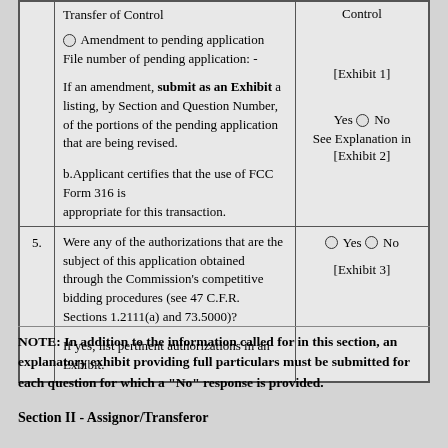|  | Transfer of Control

Amendment to pending application
File number of pending application: -

If an amendment, submit as an Exhibit a listing, by Section and Question Number, of the portions of the pending application that are being revised.

b.Applicant certifies that the use of FCC Form 316 is appropriate for this transaction. | Control

[Exhibit 1]

Yes No
See Explanation in [Exhibit 2] |
| 5. | Were any of the authorizations that are the subject of this application obtained through the Commission's competitive bidding procedures (see 47 C.F.R. Sections 1.2111(a) and 73.5000)?

If yes, list pertinent authorizations in an Exhibit. | Yes No
[Exhibit 3] |
NOTE: In addition to the information called for in this section, an explanatory exhibit providing full particulars must be submitted for each question for which a "No" response is provided.
Section II - Assignor/Transferor